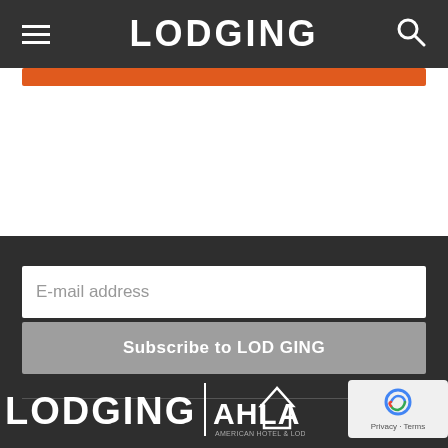LODGING
E-mail address
Subscribe to LODGING
[Figure (logo): LODGING | AHLA (American Hotel & Lodging Association) logo in white on dark background]
[Figure (logo): Google reCAPTCHA badge with Privacy and Terms links]